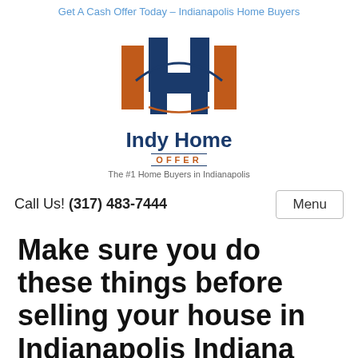Get A Cash Offer Today – Indianapolis Home Buyers
[Figure (logo): Indy Home Offer logo: orange and navy blue house/building icon above the text 'Indy Home Offer' with 'OFFER' in orange and tagline 'The #1 Home Buyers in Indianapolis']
Call Us! (317) 483-7444
Make sure you do these things before selling your house in Indianapolis Indiana